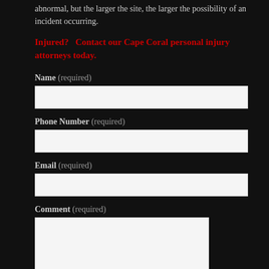abnormal, but the larger the site, the larger the possibility of an incident occurring.
Injured? Contact our Cape Coral personal injury attorneys today.
Name (required)
Phone Number (required)
Email (required)
Comment (required)